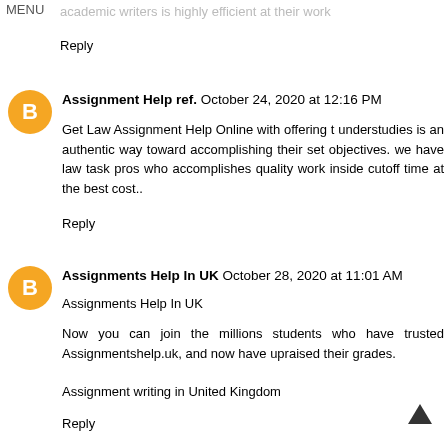MENU
academic writers is highly efficient at their work
Reply
Assignment Help ref.  October 24, 2020 at 12:16 PM
Get Law Assignment Help Online with offering t understudies is an authentic way toward accomplishing their set objectives. we have law task pros who accomplishes quality work inside cutoff time at the best cost..
Reply
Assignments Help In UK  October 28, 2020 at 11:01 AM
Assignments Help In UK
Now you can join the millions students who have trusted Assignmentshelp.uk, and now have upraised their grades.
Assignment writing in United Kingdom
Reply